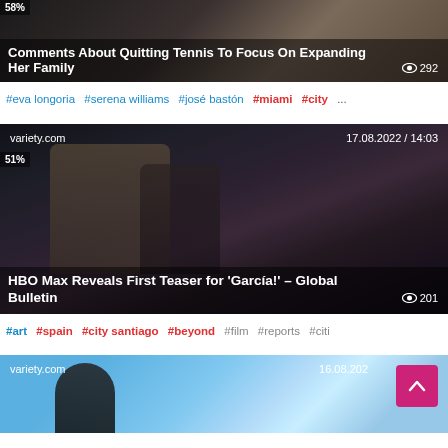[Figure (screenshot): Article card image with headline overlay: 'Comments About Quitting Tennis To Focus On Expanding Her Family', 292 views, 58%]
#eva longoria #serena williams #josé bastón #miami #city ...
[Figure (screenshot): variety.com article card, 17.08.2022 / 14:03, HBO Max Reveals First Teaser for 'García!' – Global Bulletin, 201 views, 51%]
#art #spain #city santiago #beyond #film #reports #citi
[Figure (screenshot): variety.com article card, 16.08.202..., partial view with scroll-to-top button]